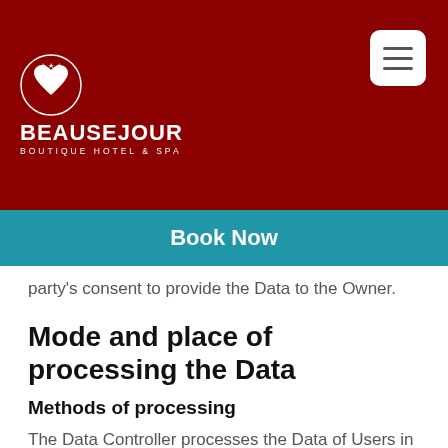[Figure (logo): Beau Sejour Boutique Hotel & Spa logo — white heart in a circle, white text on dark red background]
[Figure (screenshot): Hamburger menu button (three horizontal lines) in white rounded rectangle]
Book Now
party's consent to provide the Data to the Owner.
Mode and place of processing the Data
Methods of processing
The Data Controller processes the Data of Users in a proper manner and shall take appropriate security measures to prevent unauthorized access, disclosure, modification, or unauthorized destruction of the Data.